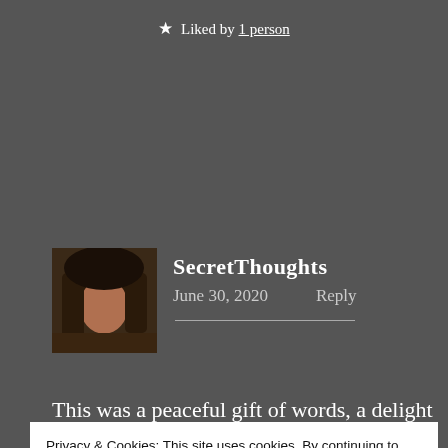★ Liked by 1 person
[Figure (photo): Avatar photo of SecretThoughts — close-up of hair, dark brown tones]
SecretThoughts
June 30, 2020    Reply
This was a peaceful gift of words, a delight for the
Privacy & Cookies: This site uses cookies. By continuing to use this website, you agree to their use.
To find out more, including how to control cookies, see here: Cookie Policy
Close and accept